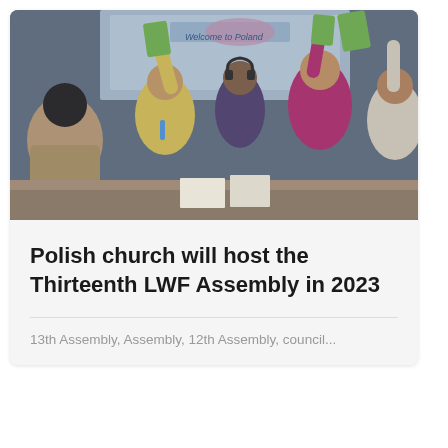[Figure (photo): People in a conference room raising green cards and cheering, with a 'Welcome to Poland' screen in the background.]
Polish church will host the Thirteenth LWF Assembly in 2023
13th Assembly, Assembly, 12th Assembly, council...